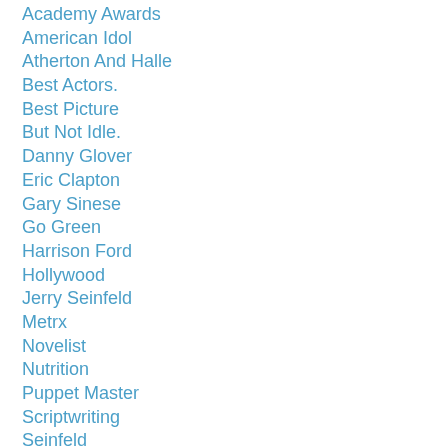Academy Awards
American Idol
Atherton And Halle
Best Actors.
Best Picture
But Not Idle.
Danny Glover
Eric Clapton
Gary Sinese
Go Green
Harrison Ford
Hollywood
Jerry Seinfeld
Metrx
Novelist
Nutrition
Puppet Master
Scriptwriting
Seinfeld
Self-Starter Wanted. Great Pay Potential!
Spacey